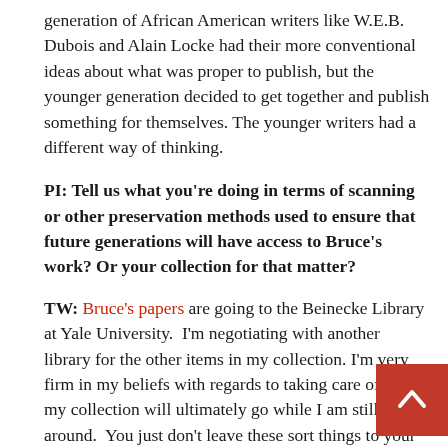generation of African American writers like W.E.B. Dubois and Alain Locke had their more conventional ideas about what was proper to publish, but the younger generation decided to get together and publish something for themselves. The younger writers had a different way of thinking.
PI: Tell us what you're doing in terms of scanning or other preservation methods used to ensure that future generations will have access to Bruce's work? Or your collection for that matter?
TW: Bruce's papers are going to the Beinecke Library at Yale University. I'm negotiating with another library for the other items in my collection. I'm very firm in my beliefs with regards to taking care of where my collection will ultimately go while I am still around. You just don't leave these sort things to your heirs. Anyone with an accumulation of a valuable, cherished collection of this particular kind should know, they should expect for their children to take care of these sort of things once there gone. You must find a place for these items to be